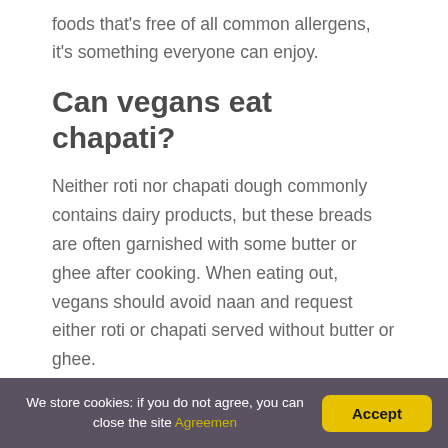foods that's free of all common allergens, it's something everyone can enjoy.
Can vegans eat chapati?
Neither roti nor chapati dough commonly contains dairy products, but these breads are often garnished with some butter or ghee after cooking. When eating out, vegans should avoid naan and request either roti or chapati served without butter or ghee.
Are Naans vegan?
Unfortunately, the majority of naan isn't suitable for
We store cookies: if you do not agree, you can close the site Agreemen
Accept